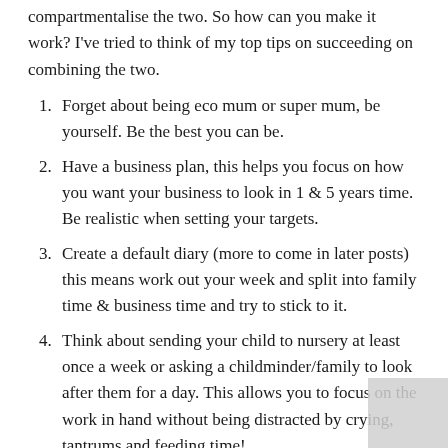compartmentalise the two. So how can you make it work? I've tried to think of my top tips on succeeding on combining the two.
Forget about being eco mum or super mum, be yourself. Be the best you can be.
Have a business plan, this helps you focus on how you want your business to look in 1 & 5 years time. Be realistic when setting your targets.
Create a default diary (more to come in later posts) this means work out your week and split into family time & business time and try to stick to it.
Think about sending your child to nursery at least once a week or asking a childminder/family to look after them for a day. This allows you to focus on the work in hand without being distracted by crying, tantrums and feeding time!